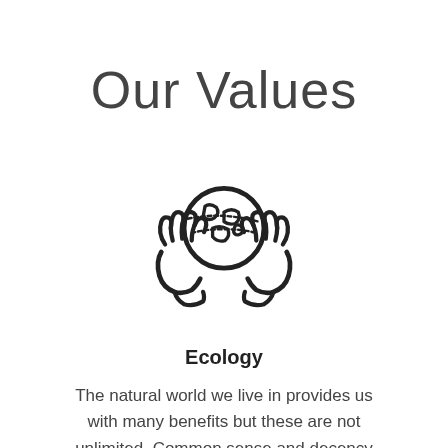Our Values
[Figure (illustration): Line art icon of two hands cupping and protecting a globe (Earth), symbolizing ecology and environmental care.]
Ecology
The natural world we live in provides us with many benefits but these are not unlimited. Common sense and decency